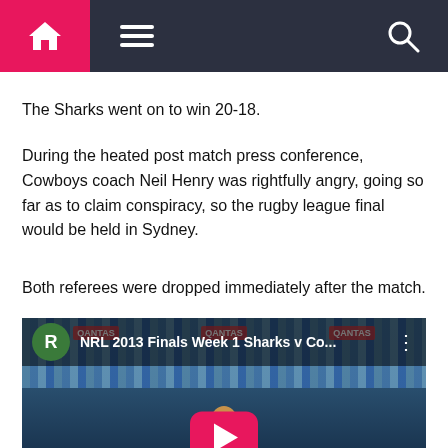Navigation bar with home, menu, and search icons
The Sharks went on to win 20-18.
During the heated post match press conference, Cowboys coach Neil Henry was rightfully angry, going so far as to claim conspiracy, so the rugby league final would be held in Sydney.
Both referees were dropped immediately after the match.
[Figure (screenshot): YouTube video thumbnail showing NRL 2013 Finals Week 1 Sharks v Co... with a rugby player wearing a Toyota jersey seen from behind, crowd in background, red YouTube play button overlay, green avatar with R, scroll-to-top pink button in bottom right]